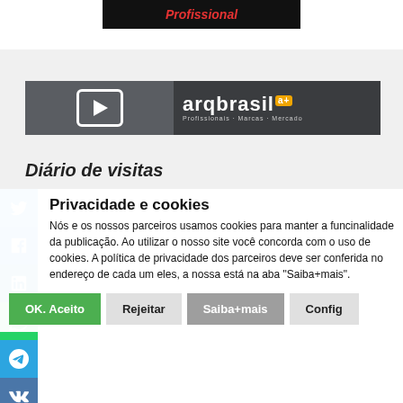[Figure (screenshot): Dark banner with red italic text 'Profissional']
[Figure (logo): arqbrasil logo banner with play button icon and text 'arqbrasil a+ Profissionais - Marcas - Mercado' on dark gray background]
Diário de visitas
Privacidade e cookies
Nós e os nossos parceiros usamos cookies para manter a funcinalidade da publicação. Ao utilizar o nosso site você concorda com o uso de cookies. A política de privacidade dos parceiros deve ser conferida no endereço de cada um eles, a nossa está na aba "Saiba+mais".
OK. Aceito
Rejeitar
Saiba+mais
Config